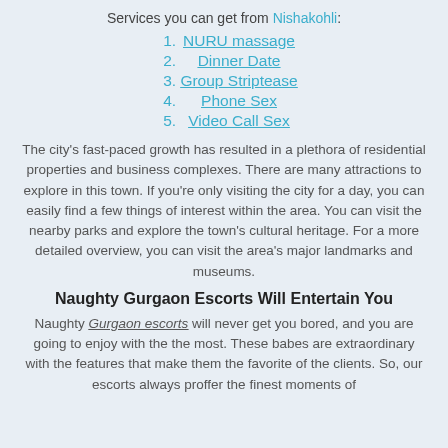Services you can get from Nishakohli:
NURU massage
Dinner Date
Group Striptease
Phone Sex
Video Call Sex
The city's fast-paced growth has resulted in a plethora of residential properties and business complexes. There are many attractions to explore in this town. If you're only visiting the city for a day, you can easily find a few things of interest within the area. You can visit the nearby parks and explore the town's cultural heritage. For a more detailed overview, you can visit the area's major landmarks and museums.
Naughty Gurgaon Escorts Will Entertain You
Naughty Gurgaon escorts will never get you bored, and you are going to enjoy with the the most. These babes are extraordinary with the features that make them the favorite of the clients. So, our escorts always proffer the finest moments of